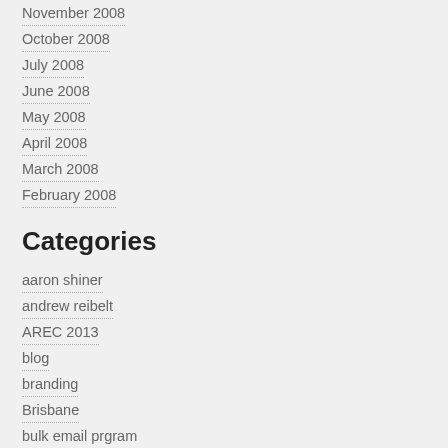November 2008
October 2008
July 2008
June 2008
May 2008
April 2008
March 2008
February 2008
Categories
aaron shiner
andrew reibelt
AREC 2013
blog
branding
Brisbane
bulk email prgram
business success